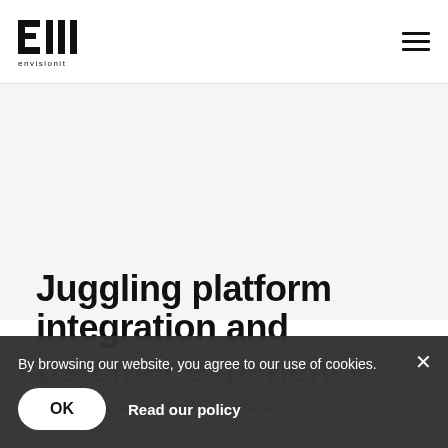envisionit logo and hamburger menu
[Figure (logo): Envisionit logo with stylized E and vertical bars icon above the text 'envisionit']
Juggling platform integration and customer experience
Dana Rebecca Designs needed a business
By browsing our website, you agree to our use of cookies.
OK   Read our policy